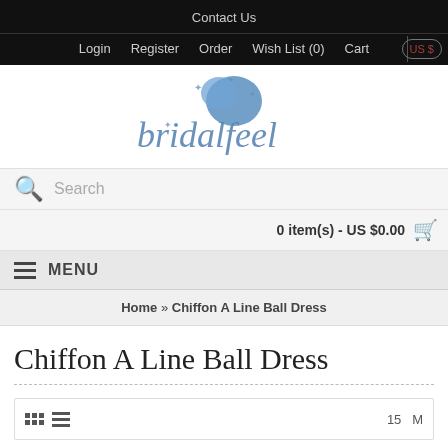Contact Us
Login   Register   Order   Wish List (0)   Cart   US $
[Figure (logo): Bridalfeel logo with decorative blue script text and butterfly motifs]
Search
0 item(s) - US $0.00
MENU
Home » Chiffon A Line Ball Dress
Chiffon A Line Ball Dress
15   M